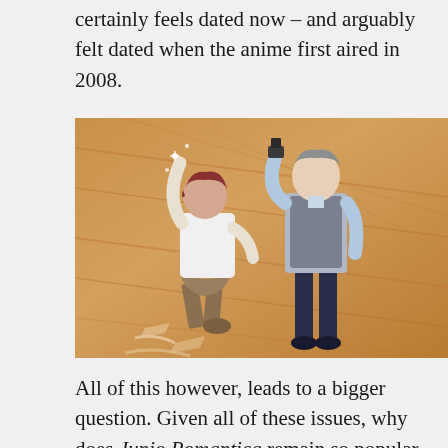certainly feels dated now – and arguably felt dated when the anime first aired in 2008.
[Figure (illustration): Anime screenshot showing two characters: a shorter character with reddish-brown hair kneeling/celebrating with arm raised, and a taller character standing holding what appears to be a small object, both viewed from behind on a wooden floor background. Stylized motion lines visible at bottom.]
All of this however, leads to a bigger question. Given all of these issues, why does Junjo Romantica remain so popular, not just in